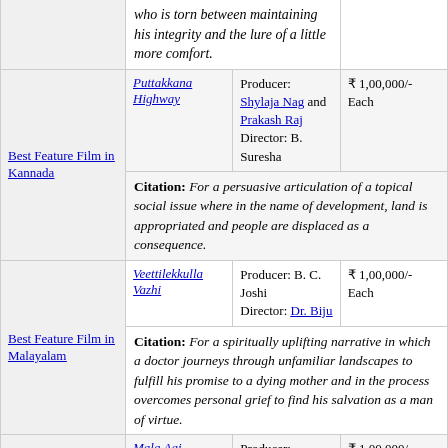| Award | Film | Producer/Director | Prize |
| --- | --- | --- | --- |
|  | Puttakkana Highway | Producer: Shylaja Nag and Prakash Raj
Director: B. Suresha | ₹ 1,00,000/- Each |
| Best Feature Film in Kannada | Citation: For a persuasive articulation of a topical social issue where in the name of development, land is appropriated and people are displaced as a consequence. |  |  |
|  | Veettilekkulla Vazhi | Producer: B. C. Joshi
Director: Dr. Biju | ₹ 1,00,000/- Each |
| Best Feature Film in Malayalam | Citation: For a spiritually uplifting narrative in which a doctor journeys through unfamiliar landscapes to fulfill his promise to a dying mother and in the process overcomes personal grief to find his salvation as a man of virtue. |  |  |
|  | Mala Aai Vhhaychy! | Producer: Samruddhi Porey
Director: Samruddhi Porey | ₹ 1,00,000/- Each |
| Best Feature Film in Marathi | Citation: For an emotional presentation of the story of a surrogate mother who is torn between... |  |  |